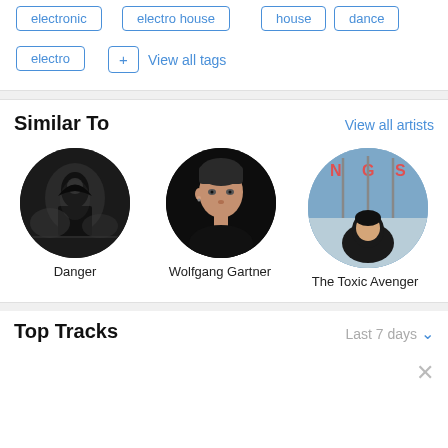electronic
electro house
house
dance
electro
View all tags
Similar To
View all artists
[Figure (photo): Circular artist photo of Danger - dark silhouette figure]
Danger
[Figure (photo): Circular artist photo of Wolfgang Gartner - man facing camera]
Wolfgang Gartner
[Figure (photo): Circular artist photo of The Toxic Avenger - album art with NGS letters]
The Toxic Avenger
Top Tracks
Last 7 days